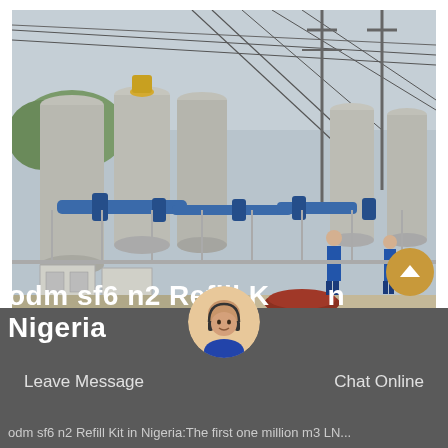[Figure (photo): Outdoor electrical substation showing GIS (Gas Insulated Switchgear) equipment with large cylindrical tanks, blue pipe fittings, control cabinets, overhead power lines, and workers in blue uniforms visible in the background.]
odm sf6 n2 Refill Kit in Nigeria
Leave Message
Chat Online
odm sf6 n2 Refill Kit in Nigeria:The first one million m3 LNG...